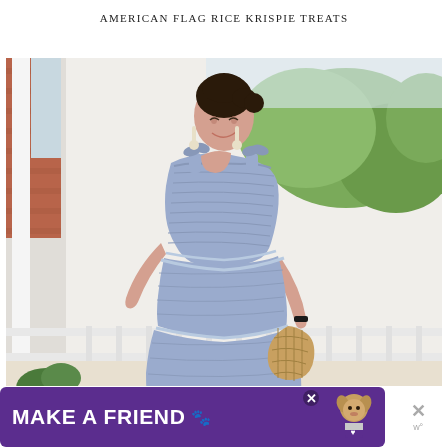AMERICAN FLAG RICE KRISPIE TREATS
[Figure (photo): Woman wearing a light blue smocked tiered sundress with bow shoulder straps and dangling earrings, standing on a white porch with brick building and green trees in background, holding a woven bag]
[Figure (other): Advertisement banner: purple background with white bold text 'MAKE A FRIEND' with heart emoji and image of a dog, with X close button and weatherbug logo on right side]